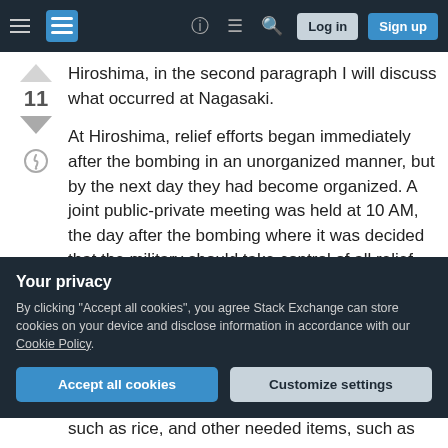Stack Exchange navigation bar with hamburger menu, logo, help, chat, search icons, Log in and Sign up buttons
Hiroshima, in the second paragraph I will discuss what occurred at Nagasaki.
At Hiroshima, relief efforts began immediately after the bombing in an unorganized manner, but by the next day they had become organized. A joint public-private meeting was held at 10 AM, the day after the bombing where it was decided that the military should take control of all relief efforts. The leader of the Agasaki Corps who had already begun relief efforts was put in command of the Hiroshima
such as rice, and other needed items, such as
[Figure (screenshot): Privacy consent banner with dark background: 'Your privacy' header, body text about cookies and Cookie Policy link, Accept all cookies button (blue) and Customize settings button (grey)]